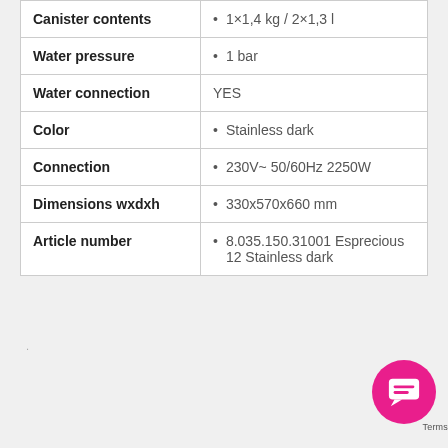| Property | Value |
| --- | --- |
| Canister contents | 1×1,4 kg / 2×1,3 l |
| Water pressure | 1 bar |
| Water connection | YES |
| Color | Stainless dark |
| Connection | 230V~ 50/60Hz 2250W |
| Dimensions wxdxh | 330x570x660 mm |
| Article number | 8.035.150.31001 Esprecious 12 Stainless dark |